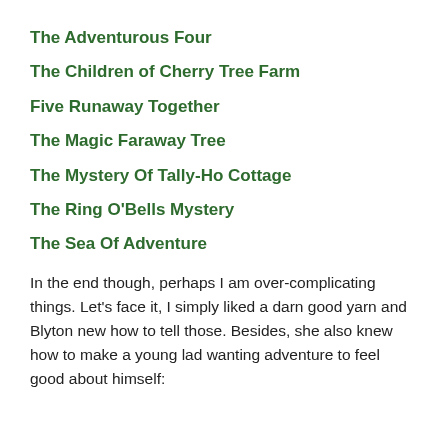The Adventurous Four
The Children of Cherry Tree Farm
Five Runaway Together
The Magic Faraway Tree
The Mystery Of Tally-Ho Cottage
The Ring O'Bells Mystery
The Sea Of Adventure
In the end though, perhaps I am over-complicating things. Let's face it, I simply liked a darn good yarn and Blyton new how to tell those. Besides, she also knew how to make a young lad wanting adventure to feel good about himself: